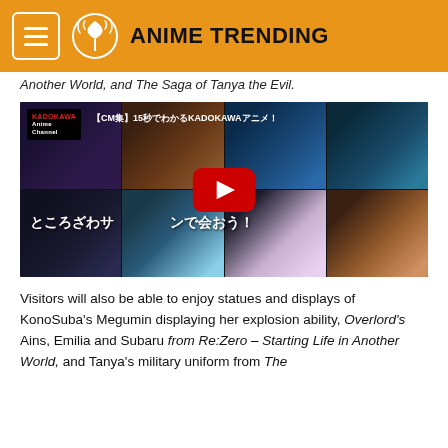ANIME TRENDING
Another World, and The Saga of Tanya the Evil.
[Figure (screenshot): YouTube video thumbnail showing a collage of anime characters from KonoSuba, Overlord, Re:Zero and other KADOKAWA anime series. The video title shows Japanese text 'ところざわサクラタウンで会おう!' and KADOKAWA Anime Channel branding. A red YouTube play button is centered on the image.]
Visitors will also be able to enjoy statues and displays of KonoSuba's Megumin displaying her explosion ability, Overlord's Ains, Emilia and Subaru from Re:Zero – Starting Life in Another World, and Tanya's military uniform from The